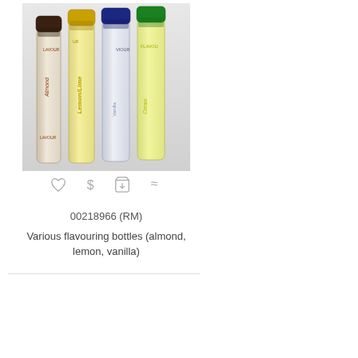[Figure (photo): Four small glass flavouring bottle vials with coloured screw caps (brown, yellow, dark blue, green) containing clear and yellow liquids, labelled Almond, Lemon/Lime, and Cream/vanilla flavours.]
[Figure (infographic): Row of four small icons: heart (favourite), dollar sign (price), shopping cart with download arrow (add to cart), and approximately-equal/similar sign.]
00218966 (RM)
Various flavouring bottles (almond, lemon, vanilla)